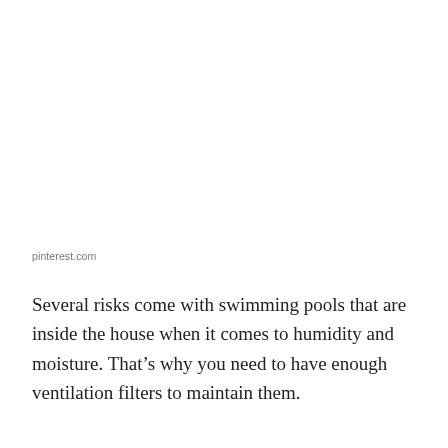pinterest.com
Several risks come with swimming pools that are inside the house when it comes to humidity and moisture. That’s why you need to have enough ventilation filters to maintain them.